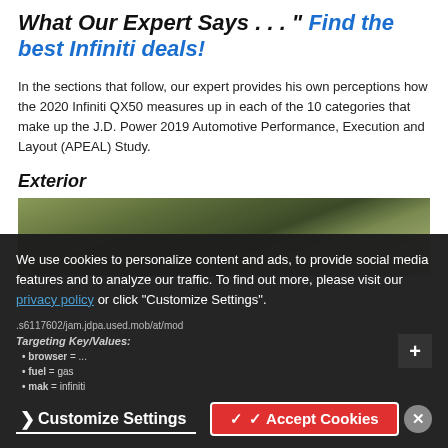What Our Expert Says . . . — Find the best Infiniti deals!
In the sections that follow, our expert provides his own perceptions how the 2020 Infiniti QX50 measures up in each of the 10 categories that make up the J.D. Power 2019 Automotive Performance, Execution and Layout (APEAL) Study.
Exterior
[Figure (photo): Partial exterior photo of the 2020 Infiniti QX50 in a green wooded setting]
We use cookies to personalize content and ads, to provide social media features and to analyze our traffic. To find out more, please visit our privacy policy or click "Customize Settings".